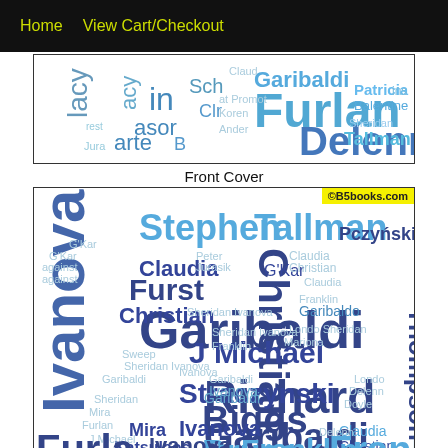Home   View Cart/Checkout
[Figure (other): Word cloud showing Babylon 5 character names including Furlan, Delenn, Tallman, Patricia, Garibaldi in various blue shades - top/front cover image]
Front Cover
[Figure (other): Large word cloud with Babylon 5 character names: Stephen, Tallman, Michael, Claudia, Garibaldi, Furst, Christian, Sheridan, Thompson, Andrea, Ivanova, J Michael, Straczynski, Richard, Ivanova, Mira, Katsulaos, Andreou, Biggs, Bruce, Franklin, Furlan, G'Kar, Delenn, Claudia, Christian etc. in dark blue, medium blue, and light blue/cyan text]